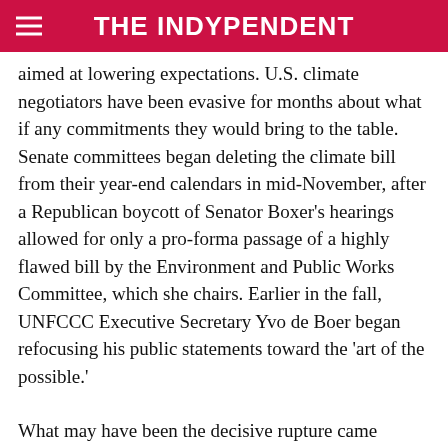THE INDYPENDENT
aimed at lowering expectations. U.S. climate negotiators have been evasive for months about what if any commitments they would bring to the table. Senate committees began deleting the climate bill from their year-end calendars in mid-November, after a Republican boycott of Senator Boxer’s hearings allowed for only a pro-forma passage of a highly flawed bill by the Environment and Public Works Committee, which she chairs. Earlier in the fall, UNFCCC Executive Secretary Yvo de Boer began refocusing his public statements toward the ‘art of the possible.’
What may have been the decisive rupture came during talks in Bangkok in mid-October, aimed at finalizing the framework for a Copenhagen agreement. For the first time, European Union representatives echoed the